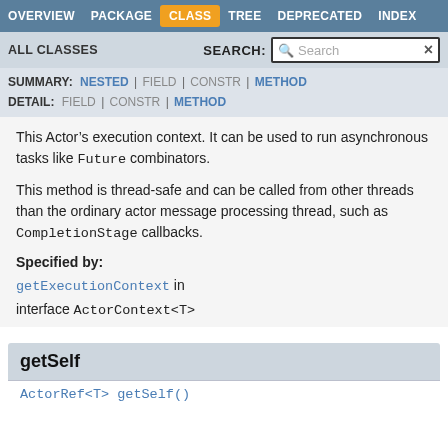OVERVIEW | PACKAGE | CLASS | TREE | DEPRECATED | INDEX
ALL CLASSES | SEARCH:
SUMMARY: NESTED | FIELD | CONSTR | METHOD
DETAIL: FIELD | CONSTR | METHOD
This Actor’s execution context. It can be used to run asynchronous tasks like Future combinators.
This method is thread-safe and can be called from other threads than the ordinary actor message processing thread, such as CompletionStage callbacks.
Specified by:
getExecutionContext in interface ActorContext<T>
getSelf
ActorRef<T> getSelf()